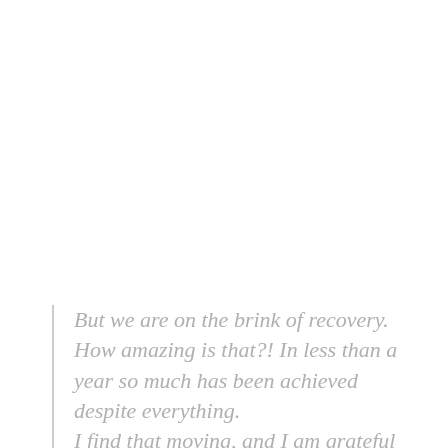But we are on the brink of recovery. How amazing is that?! In less than a year so much has been achieved despite everything. I find that moving, and I am grateful for our